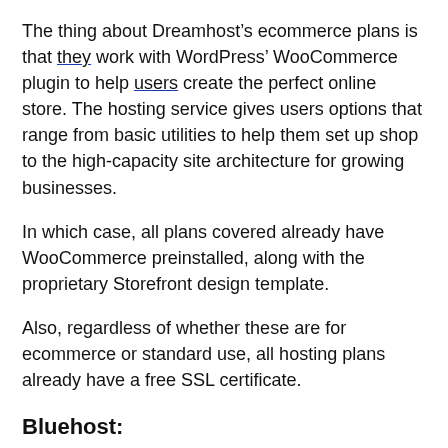The thing about Dreamhost’s ecommerce plans is that they work with WordPress’ WooCommerce plugin to help users create the perfect online store. The hosting service gives users options that range from basic utilities to help them set up shop to the high-capacity site architecture for growing businesses.
In which case, all plans covered already have WooCommerce preinstalled, along with the proprietary Storefront design template.
Also, regardless of whether these are for ecommerce or standard use, all hosting plans already have a free SSL certificate.
Bluehost:
Similar to Dreamhost Bluehost also supports websites using the WooCommerce plugin but does not offer hosting packages specific for ecommerce site creation and hosting.
As above, SSL certificates are already included when you sign up for a hosting plan.